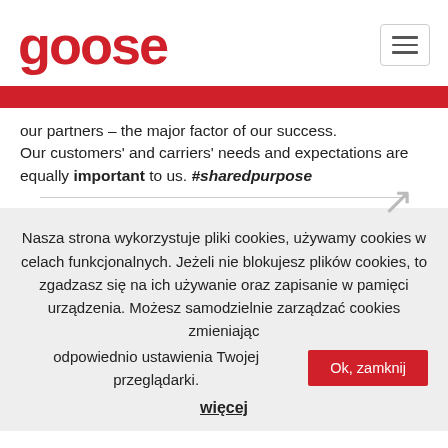[Figure (logo): Goose logo in red bold text]
our partners – the major factor of our success. Our customers' and carriers' needs and expectations are equally important to us. #sharedpurpose
Nasza strona wykorzystuje pliki cookies, używamy cookies w celach funkcjonalnych. Jeżeli nie blokujesz plików cookies, to zgadzasz się na ich używanie oraz zapisanie w pamięci urządzenia. Możesz samodzielnie zarządzać cookies zmieniając odpowiednio ustawienia Twojej przeglądarki. Ok, zamknij
więcej